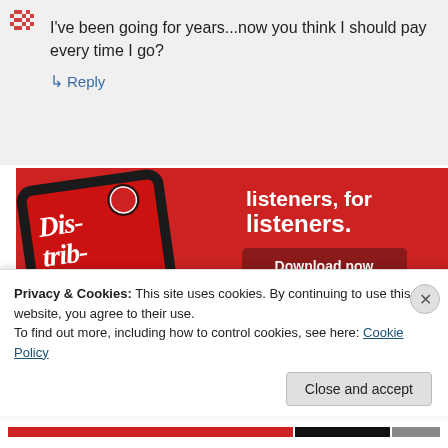I've been going for years...now you think I should pay every time I go?
↳ Reply
[Figure (photo): Advertisement banner for a podcast app on red background. Shows a smartphone with 'Dis-tri-buted' podcast displayed, with text 'listeners, for listeners.' and a 'Download now' button.]
Privacy & Cookies: This site uses cookies. By continuing to use this website, you agree to their use.
To find out more, including how to control cookies, see here: Cookie Policy
Close and accept